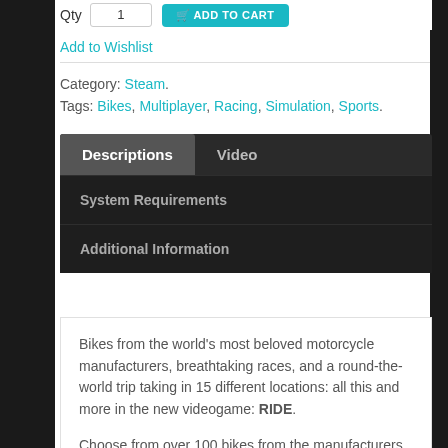Qty  1  ADD TO CART
Add to Wishlist
Category: Steam.
Tags: Bikes, Multiplayer, Racing, Simulation, Sports.
Descriptions
Video
System Requirements
Additional Information
Bikes from the world's most beloved motorcycle manufacturers, breathtaking races, and a round-the-world trip taking in 15 different locations: all this and more in the new videogame: RIDE.
Choose from over 100 bikes from the manufacturers that have made motorcycling